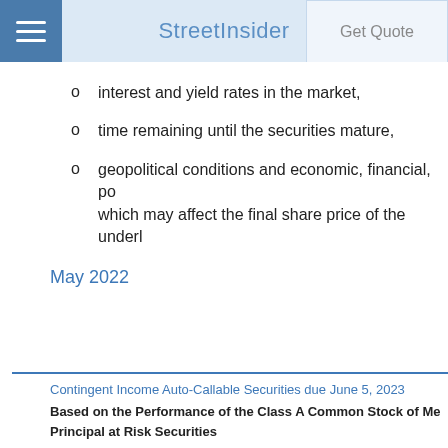StreetInsider  Get Quote
interest and yield rates in the market,
time remaining until the securities mature,
geopolitical conditions and economic, financial, po... which may affect the final share price of the underl...
May 2022
Contingent Income Auto-Callable Securities due June 5, 2023
Based on the Performance of the Class A Common Stock of Me...
Principal at Risk Securities